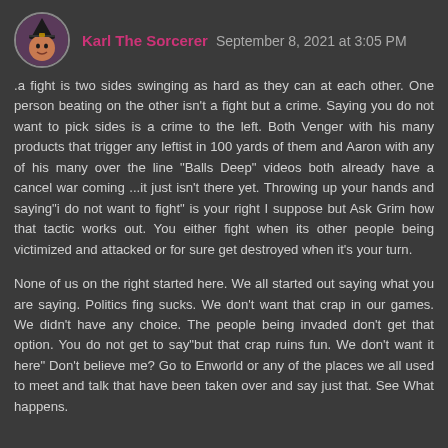Karl The Sorcerer  September 8, 2021 at 3:05 PM
.a fight is two sides swinging as hard as they can at each other. One person beating on the other isn't a fight but a crime. Saying you do not want to pick sides is a crime to the left. Both Venger with his many products that trigger any leftist in 100 yards of them and Aaron with any of his many over the line "Balls Deep" videos both already have a cancel war coming ...it just isn't there yet. Throwing up your hands and saying"i do not want to fight" is your right I suppose but Ask Grim how that tactic works out. You either fight when its other people being victimized and attacked or for sure get destroyed when it's your turn.
None of us on the right started here. We all started out saying what you are saying. Politics fing sucks. We don't want that crap in our games. We didn't have any choice. The people being invaded don't get that option. You do not get to say"but that crap ruins fun. We don't want it here" Don't believe me? Go to Enworld or any of the places we all used to meet and talk that have been taken over and say just that. See What happens.